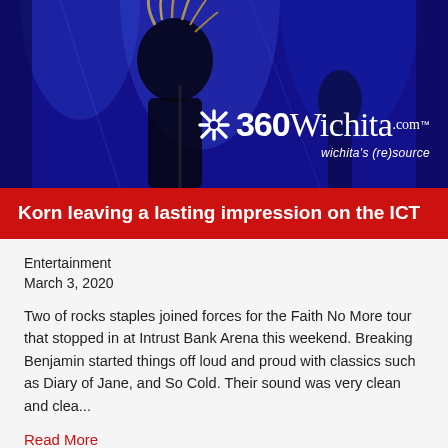[Figure (photo): Concert photo of a performer on stage with dramatic blue lighting and dreadlock-style hair accessory, with 360Wichita.com logo overlay in the lower right corner. Logo reads '360Wichita.com — wichita's (re)source']
Korn leaving a lasting impression on the ICT
Entertainment
March 3, 2020
Two of rocks staples joined forces for the Faith No More tour that stopped in at Intrust Bank Arena this weekend. Breaking Benjamin started things off loud and proud with classics such as Diary of Jane, and So Cold. Their sound was very clean and clea...
Read More